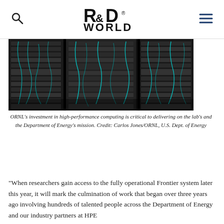R&D WORLD [logo] [search icon] [menu icon]
[Figure (photo): Close-up photo of high-performance computing server racks with dense cabling and teal-colored wires at Oak Ridge National Laboratory]
ORNL's investment in high-performance computing is critical to delivering on the lab's and the Department of Energy's mission. Credit: Carlos Jones/ORNL, U.S. Dept. of Energy
“When researchers gain access to the fully operational Frontier system later this year, it will mark the culmination of work that began over three years ago involving hundreds of talented people across the Department of Energy and our industry partners at HPE